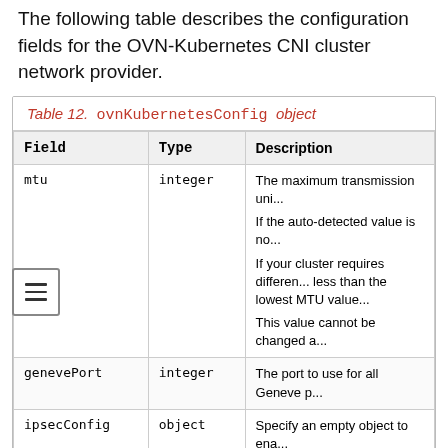The following table describes the configuration fields for the OVN-Kubernetes CNI cluster network provider.
Table 12. ovnKubernetesConfig object
| Field | Type | Description |
| --- | --- | --- |
| mtu | integer | The maximum transmission unit...

If the auto-detected value is no...

If your cluster requires differen... less than the lowest MTU value...

This value cannot be changed a... |
| genevePort | integer | The port to use for all Geneve p... |
| ipsecConfig | object | Specify an empty object to ena... |
| policyAuditConfig | object | Specify a configuration object... |